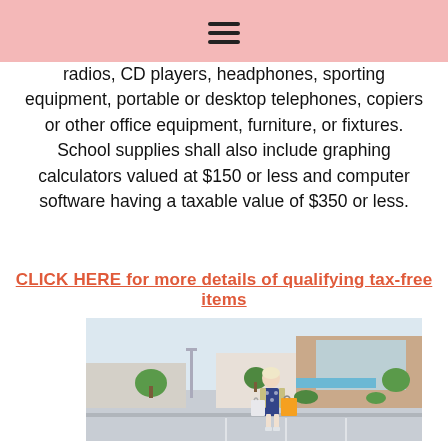≡
radios, CD players, headphones, sporting equipment, portable or desktop telephones, copiers or other office equipment, furniture, or fixtures. School supplies shall also include graphing calculators valued at $150 or less and computer software having a taxable value of $350 or less.
CLICK HERE for more details of qualifying tax-free items
[Figure (photo): A woman holding shopping bags stands in a shopping center parking lot with retail store buildings in the background.]